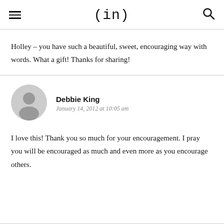(in)
Holley – you have such a beautiful, sweet, encouraging way with words. What a gift! Thanks for sharing!
Debbie King
January 14, 2012 at 10:05 am
I love this! Thank you so much for your encouragement. I pray you will be encouraged as much and even more as you encourage others.